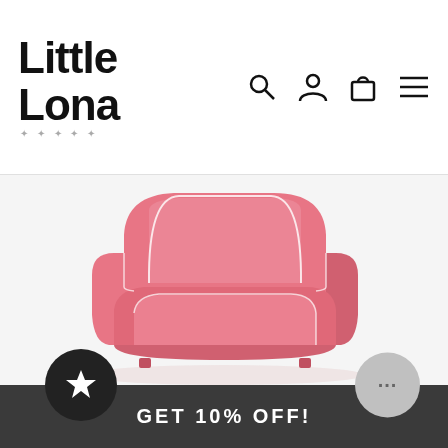Little Lona
[Figure (photo): Pink children's armchair/foam sofa chair with white piping detail, photographed on white background]
GET 10% OFF!